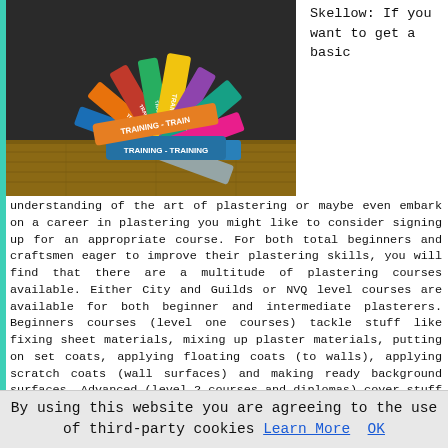[Figure (photo): Colorful ribbon-like bands with the word TRAINING written on them, arranged in a fan/sphere shape on a wooden surface against a dark chalkboard background]
Skellow: If you want to get a basic
understanding of the art of plastering or maybe even embark on a career in plastering you might like to consider signing up for an appropriate course. For both total beginners and craftsmen eager to improve their plastering skills, you will find that there are a multitude of plastering courses available. Either City and Guilds or NVQ level courses are available for both beginner and intermediate plasterers. Beginners courses (level one courses) tackle stuff like fixing sheet materials, mixing up plaster materials, putting on set coats, applying floating coats (to walls), applying scratch coats (wall surfaces) and making ready background surfaces. Advanced (level 2 courses and diplomas) cover stuff like fibrous plasterwork, dry lining/plasterboarding, cement and sand
By using this website you are agreeing to the use of third-party cookies Learn More OK